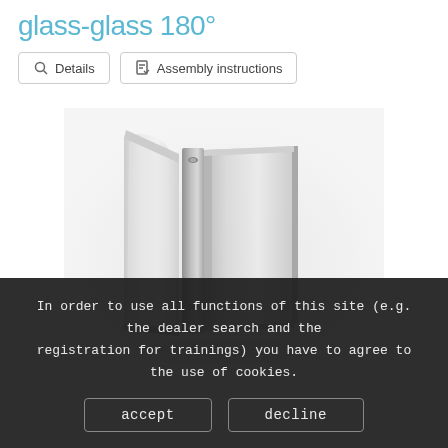glass-glass 180°
Details
Assembly instructions
[Figure (photo): 3D rendered product photo of a glass-glass 180° hinge/clamp connector, showing two glass panels joined at 180 degrees with a chrome/silver metal clamp fitting]
In order to use all functions of this site (e.g. the dealer search and the registration for trainings) you have to agree to the use of cookies.
accept
decline